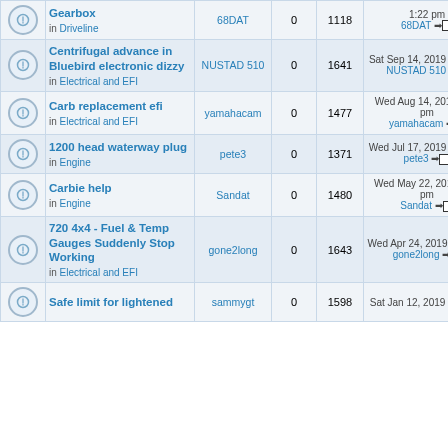|  | Topic | Author | Replies | Views | Last Post |
| --- | --- | --- | --- | --- | --- |
| [icon] | Gearbox
in Driveline | 68DAT | 0 | 1118 | 1:22 pm
68DAT →□ |
| [icon] | Centrifugal advance in Bluebird electronic dizzy
in Electrical and EFI | NUSTAD 510 | 0 | 1641 | Sat Sep 14, 2019 9:11 pm
NUSTAD 510 →□ |
| [icon] | Carb replacement efi
in Electrical and EFI | yamahacam | 0 | 1477 | Wed Aug 14, 2019 2:54 pm
yamahacam →□ |
| [icon] | 1200 head waterway plug
in Engine | pete3 | 0 | 1371 | Wed Jul 17, 2019 3:30 pm
pete3 →□ |
| [icon] | Carbie help
in Engine | Sandat | 0 | 1480 | Wed May 22, 2019 9:06 pm
Sandat →□ |
| [icon] | 720 4x4 - Fuel & Temp Gauges Suddenly Stop Working
in Electrical and EFI | gone2long | 0 | 1643 | Wed Apr 24, 2019 6:03 am
gone2long →□ |
| [icon] | Safe limit for lightened
... | sammygt | 0 | 1598 | Sat Jan 12, 2019 1:07 pm
... |